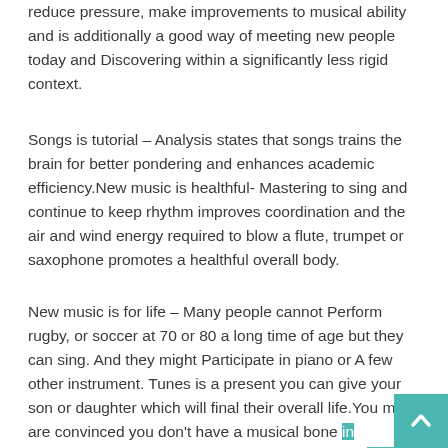reduce pressure, make improvements to musical ability and is additionally a good way of meeting new people today and Discovering within a significantly less rigid context.
Songs is tutorial – Analysis states that songs trains the brain for better pondering and enhances academic efficiency.New music is healthful- Mastering to sing and continue to keep rhythm improves coordination and the air and wind energy required to blow a flute, trumpet or saxophone promotes a healthful overall body.
New music is for life – Many people cannot Perform rugby, or soccer at 70 or 80 a long time of age but they can sing. And they might Participate in piano or A few other instrument. Tunes is a present you can give your son or daughter which will final their overall life.You may are convinced you don't have a musical bone in Your entire body. Even with this, we say... if The chance and facilities are there then Everybody has a chance to